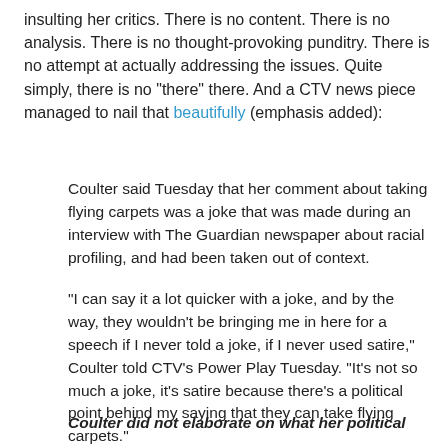insulting her critics. There is no content. There is no analysis. There is no thought-provoking punditry. There is no attempt at actually addressing the issues. Quite simply, there is no "there" there. And a CTV news piece managed to nail that beautifully (emphasis added):
Coulter said Tuesday that her comment about taking flying carpets was a joke that was made during an interview with The Guardian newspaper about racial profiling, and had been taken out of context.
"I can say it a lot quicker with a joke, and by the way, they wouldn't be bringing me in here for a speech if I never told a joke, if I never used satire," Coulter told CTV's Power Play Tuesday. "It's not so much a joke, it's satire because there's a political point behind my saying that they can take flying carpets."
Coulter did not elaborate on what her political